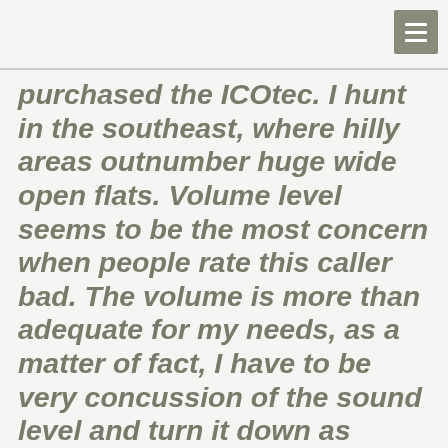purchased the ICOtec. I hunt in the southeast, where hilly areas outnumber huge wide open flats. Volume level seems to be the most concern when people rate this caller bad. The volume is more than adequate for my needs, as a matter of fact, I have to be very concussion of the sound level and turn it down as coyotes and foxes work in closer."  — GC350
“I have only used this call 4